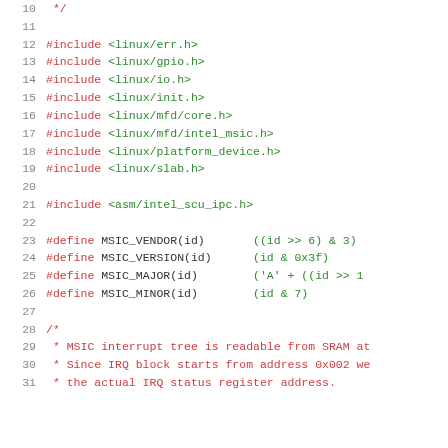[Figure (screenshot): Source code listing (C language) showing line numbers 10-31 with #include directives, #define macros, and start of a block comment. Lines include linux/err.h, linux/gpio.h, linux/io.h, linux/init.h, linux/mfd/core.h, linux/mfd/intel_msic.h, linux/platform_device.h, linux/slab.h, asm/intel_scu_ipc.h includes, and MSIC_VENDOR, MSIC_VERSION, MSIC_MAJOR, MSIC_MINOR macro definitions.]